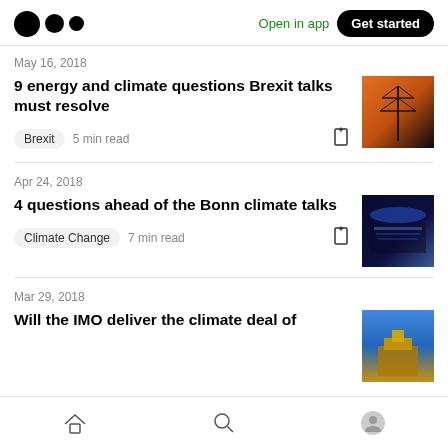Medium logo | Open in app | Get started
May 16, 2018
9 energy and climate questions Brexit talks must resolve
Brexit  5 min read
[Figure (photo): Photo of electricity pylons at sunset/dusk with orange and dark sky]
Apr 24, 2018
4 questions ahead of the Bonn climate talks
Climate Change  7 min read
[Figure (photo): Photo of a large conference hall with blue lighting and audience]
Mar 29, 2018
Will the IMO deliver the climate deal of
[Figure (photo): Photo of a building with blue sky and golden/yellow tones]
Home | Search | Profile navigation icons